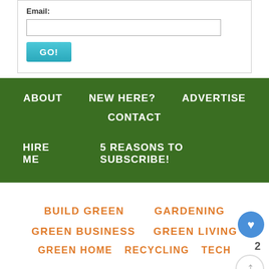Email:
GO!
ABOUT   NEW HERE?   ADVERTISE   CONTACT   HIRE ME   5 REASONS TO SUBSCRIBE!
BUILD GREEN
GARDENING
GREEN BUSINESS
GREEN LIVING
GREEN HOME
RECYCLING
TECH
How to Tap a Walnut Tree
APRIL 8, 2016 | BY: ANNA | 27